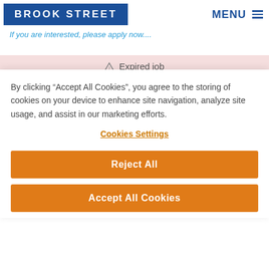BROOK STREET
MENU
If you are interested, please apply now....
Expired job
By clicking “Accept All Cookies”, you agree to the storing of cookies on your device to enhance site navigation, analyze site usage, and assist in our marketing efforts.
Cookies Settings
Reject All
Accept All Cookies